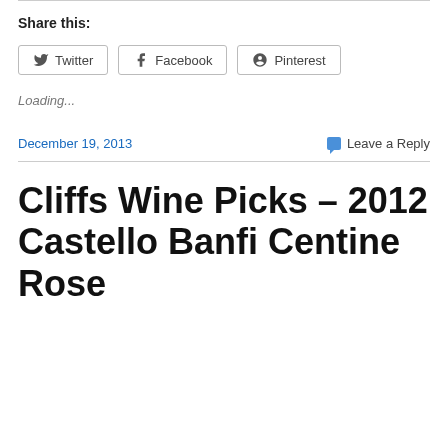Share this:
Twitter  Facebook  Pinterest
Loading...
December 19, 2013
Leave a Reply
Cliffs Wine Picks – 2012 Castello Banfi Centine Rose